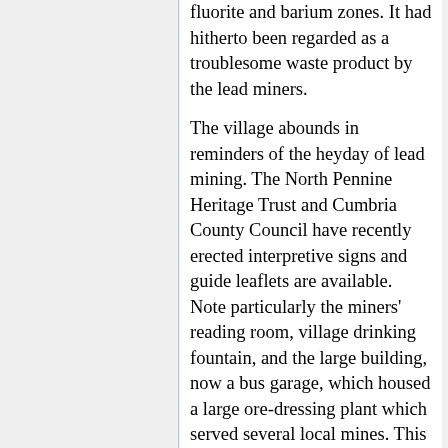fluorite and barium zones. It had hitherto been regarded as a troublesome waste product by the lead miners.
The village abounds in reminders of the heyday of lead mining. The North Pennine Heritage Trust and Cumbria County Council have recently erected interpretive signs and guide leaflets are available. Note particularly the miners' reading room, village drinking fountain, and the large building, now a bus garage, which housed a large ore-dressing plant which served several local mines. This plant recovered many tons of zinc concentrates from mine spoil during World War II. Before leaving the car park note the large wooded valley of Dowgang Hush to the south above the twin stone-arched entrances to Capelcleugh Mine. This 'hush' is in part a man-made valley excavated by repeatedly releasing torrents of water from a dam high on the hillside to rip through the loose rock along the course of the Dowgang Vein.
Walk southeast along the track, passing